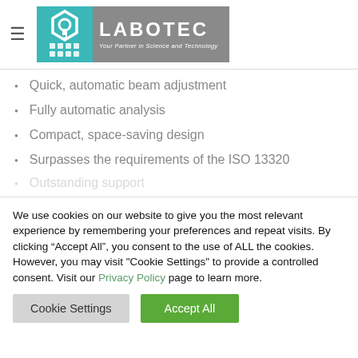[Figure (logo): Labotec logo — teal icon with hexagon and grid, gray banner with LABOTEC text and tagline 'Your Partner in Science and Technology']
Quick, automatic beam adjustment
Fully automatic analysis
Compact, space-saving design
Surpasses the requirements of the ISO 13320
Outstanding support
We use cookies on our website to give you the most relevant experience by remembering your preferences and repeat visits. By clicking “Accept All”, you consent to the use of ALL the cookies. However, you may visit "Cookie Settings" to provide a controlled consent. Visit our Privacy Policy page to learn more.
Cookie Settings | Accept All